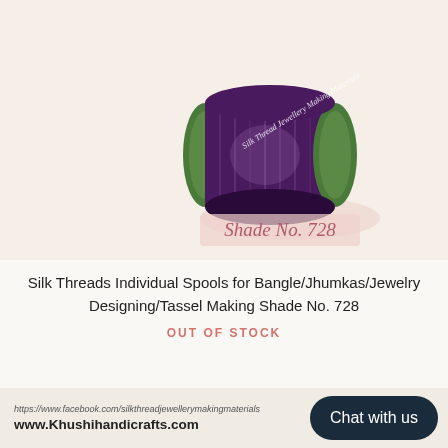[Figure (photo): A spool of dark purple/plum silk thread for jewelry making, with green ends. Text on the spool reads 'Silk Thread Jewellery Making Materials'. Below the spool is a pink label reading 'Shade No. 728'.]
Silk Threads Individual Spools for Bangle/Jhumkas/Jewelry Designing/Tassel Making Shade No. 728
OUT OF STOCK
https://www.facebook.com/silkthreadjewellerymakingmaterials
www.Khushihandicrafts.com
Chat with us